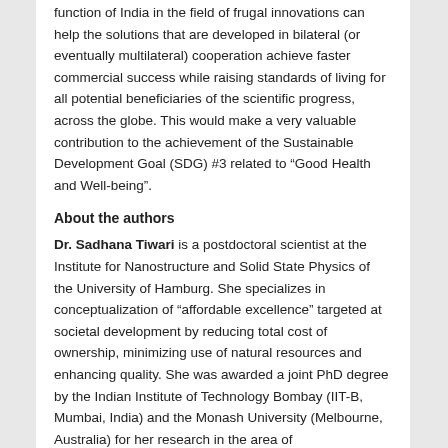function of India in the field of frugal innovations can help the solutions that are developed in bilateral (or eventually multilateral) cooperation achieve faster commercial success while raising standards of living for all potential beneficiaries of the scientific progress, across the globe. This would make a very valuable contribution to the achievement of the Sustainable Development Goal (SDG) #3 related to “Good Health and Well-being”.
About the authors
Dr. Sadhana Tiwari is a postdoctoral scientist at the Institute for Nanostructure and Solid State Physics of the University of Hamburg. She specializes in conceptualization of “affordable excellence” targeted at societal development by reducing total cost of ownership, minimizing use of natural resources and enhancing quality. She was awarded a joint PhD degree by the Indian Institute of Technology Bombay (IIT-B, Mumbai, India) and the Monash University (Melbourne, Australia) for her research in the area of Bionanotechnology. Before choosing a research path, she studied Biotechnology and